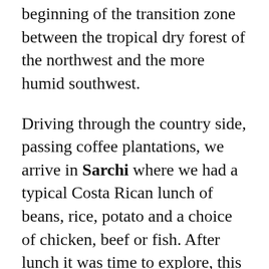beginning of the transition zone between the tropical dry forest of the northwest and the more humid southwest.
Driving through the country side, passing coffee plantations, we arrive in Sarchi where we had a typical Costa Rican lunch of beans, rice, potato and a choice of chicken, beef or fish. After lunch it was time to explore, this area is know as the Cradle of Costa Rican Artisans with wood working and craft shops, a good place to purchase local crafts for that special gift. Also this is where you can find the shop